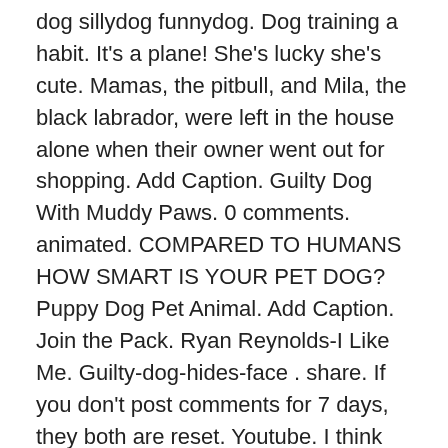dog sillydog funnydog. Dog training a habit. It's a plane! She's lucky she's cute. Mamas, the pitbull, and Mila, the black labrador, were left in the house alone when their owner went out for shopping. Add Caption. Guilty Dog With Muddy Paws. 0 comments. animated. COMPARED TO HUMANS HOW SMART IS YOUR PET DOG? Puppy Dog Pet Animal. Add Caption. Join the Pack. Ryan Reynolds-I Like Me. Guilty-dog-hides-face . share. If you don't post comments for 7 days, they both are reset. Youtube. I think the cat did it. 3 3 4 433. He is a medical genius gone insane and sane once more, and is probably one of the most unorthodox characters in the series. In the video, captured in